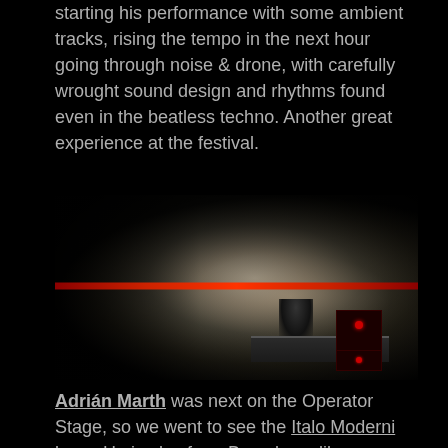starting his performance with some ambient tracks, rising the tempo in the next hour going through noise & drone, with carefully wrought sound design and rhythms found even in the beatless techno. Another great experience at the festival.
[Figure (photo): A DJ performing on a dimly lit underground stage with stone walls, red pipes crossing horizontally, and red equipment lights visible on the right.]
Adrián Marth was next on the Operator Stage, so we went to see the Italo Moderni boss. He is also from Barcelona, like many other talented artists that Ombra festival showcased this year. Adrián started his live performance with a bit of technical issues, but after a few minutes he was handling it like no other.